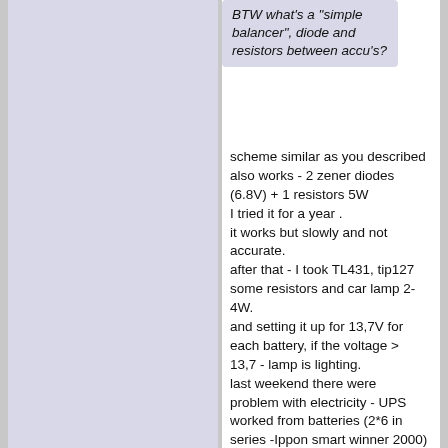BTW what's a "simple balancer", diode and resistors between accu's?
scheme similar as you described also works - 2 zener diodes (6.8V) + 1 resistors 5W
I tried it for a year .
it works but slowly and not accurate.
after that - I took TL431, tip127 some resistors and car lamp 2-4W.
and setting it up for 13,7V for each battery, if the voltage > 13,7 - lamp is lighting.
last weekend there were problem with electricity - UPS worked from batteries (2*6 in series -Ippon smart winner 2000) 1.5 hours and voltage dropped just to 12.6V for each battery. I check all batteries - the voltage difference was just 0,05V. the batteries are very old (CSB from 2013 year)
the scheme with my